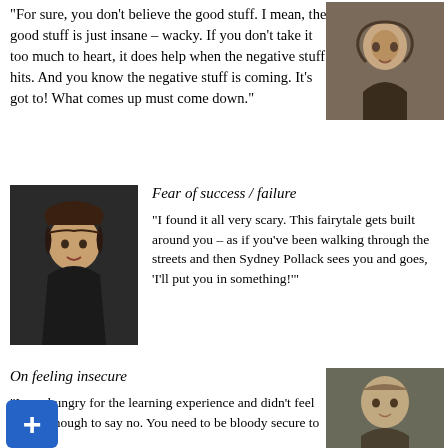“For sure, you don’t believe the good stuff. I mean, the good stuff is just insane – wacky. If you don’t take it too much to heart, it does help when the negative stuff hits. And you know the negative stuff is coming. It’s got to! What comes up must come down.”
[Figure (photo): Close-up portrait of a woman with dark curly hair looking forward]
[Figure (photo): Portrait of a smiling woman with dark hair]
Fear of success / failure
“I found it all very scary. This fairytale gets built around you – as if you’ve been walking through the streets and then Sydney Pollack sees you and goes, ‘I’ll put you in something!’”
On feeling insecure
“I was hungry for the learning experience and didn’t feel secure enough to say no. You need to be bloody secure to say no.”
[Figure (photo): Close-up portrait of a woman with light hair]